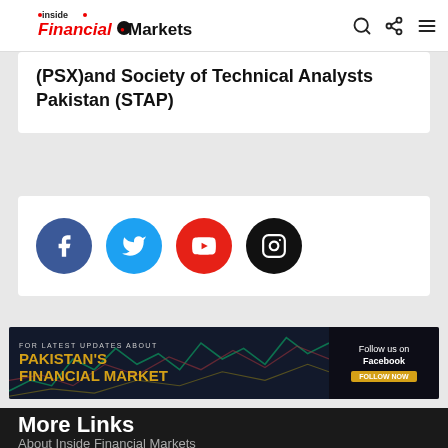Inside Financial Markets
(PSX)and Society of Technical Analysts Pakistan (STAP)
[Figure (infographic): Four social media icons: Facebook (dark blue), Twitter (light blue), YouTube (red), Instagram (black), displayed as circular buttons]
[Figure (infographic): Banner advertisement: FOR LATEST UPDATES ABOUT PAKISTAN'S FINANCIAL MARKET - Follow us on Facebook FOLLOW NOW]
More Links
About Inside Financial Markets